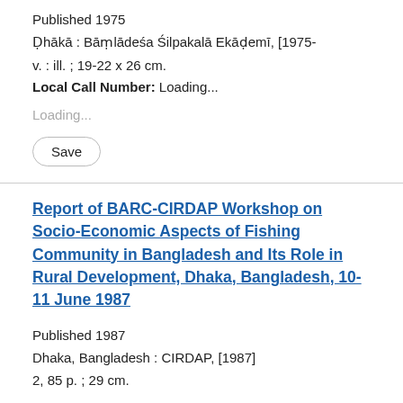Published 1975
Ḍhākā : Bāṃlādeśa Śilpakalā Ekāḍemī, [1975-
v. : ill. ; 19-22 x 26 cm.
Local Call Number: Loading...
Loading...
Save
Report of BARC-CIRDAP Workshop on Socio-Economic Aspects of Fishing Community in Bangladesh and Its Role in Rural Development, Dhaka, Bangladesh, 10-11 June 1987
Published 1987
Dhaka, Bangladesh : CIRDAP, [1987]
2, 85 p. ; 29 cm.